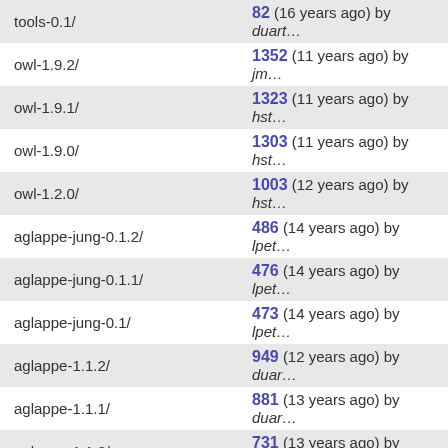| Name | Revision Info |
| --- | --- |
| tools-0.1/ | 82 (16 years ago) by duart… |
| owl-1.9.2/ | 1352 (11 years ago) by jm… |
| owl-1.9.1/ | 1323 (11 years ago) by hst… |
| owl-1.9.0/ | 1303 (11 years ago) by hst… |
| owl-1.2.0/ | 1003 (12 years ago) by hst… |
| aglappe-jung-0.1.2/ | 486 (14 years ago) by lpet… |
| aglappe-jung-0.1.1/ | 476 (14 years ago) by lpet… |
| aglappe-jung-0.1/ | 473 (14 years ago) by lpet… |
| aglappe-1.1.2/ | 949 (12 years ago) by duar… |
| aglappe-1.1.1/ | 881 (13 years ago) by duar… |
| aglappe-1.1.0/ | 731 (13 years ago) by duar… |
| aglappe-0.9.6/ | 732 (13 years ago) by duar… |
| aglappe-0.9.5/ | 692 (14 years ago) by steh… |
| aglappe-0.9.4/ | 676 (14 years ago) by duar… |
| aglappe-0.9.3/ | 555 (14 years ago) by duar… |
| aglappe-0.9.2/ | 527 (14 years ago) by duar… |